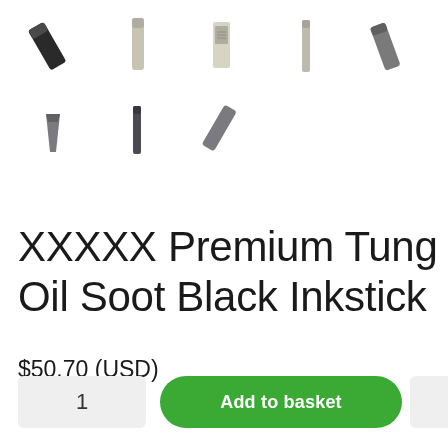[Figure (photo): Grid of inkstick product thumbnail images showing black and gray inksticks in various orientations - 5 in top row, 3 in second row]
🖌🖌🖌🖌🖌 Premium Tung Oil Soot Black Inkstick
$50.70 (USD)
1
Add to basket